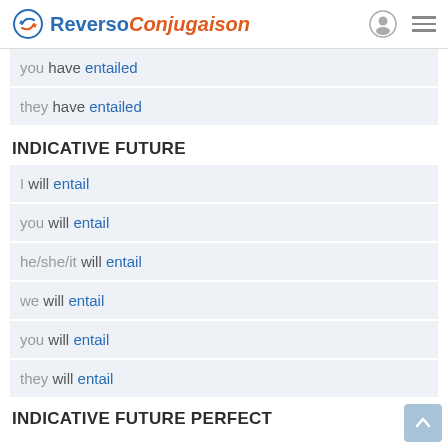Reverso Conjugaison
you have entailed
they have entailed
INDICATIVE FUTURE
I will entail
you will entail
he/she/it will entail
we will entail
you will entail
they will entail
INDICATIVE FUTURE PERFECT